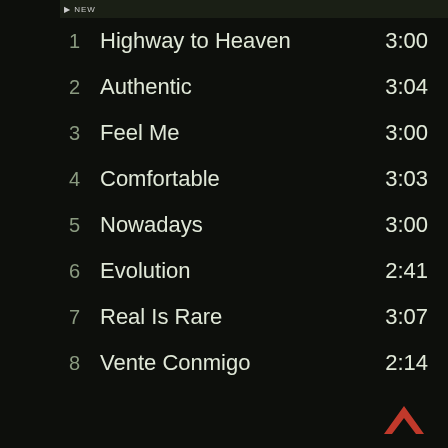1  Highway to Heaven  3:00
2  Authentic  3:04
3  Feel Me  3:00
4  Comfortable  3:03
5  Nowadays  3:00
6  Evolution  2:41
7  Real Is Rare  3:07
8  Vente Conmigo  2:14